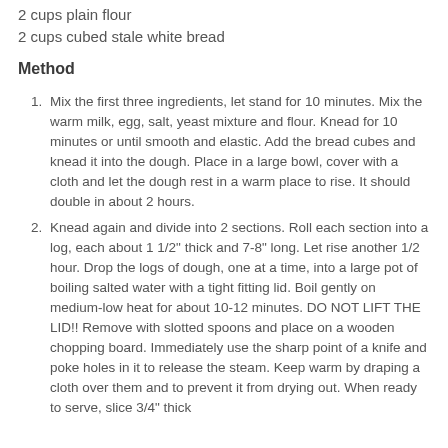2 cups plain flour
2 cups cubed stale white bread
Method
Mix the first three ingredients, let stand for 10 minutes. Mix the warm milk, egg, salt, yeast mixture and flour. Knead for 10 minutes or until smooth and elastic. Add the bread cubes and knead it into the dough. Place in a large bowl, cover with a cloth and let the dough rest in a warm place to rise. It should double in about 2 hours.
Knead again and divide into 2 sections. Roll each section into a log, each about 1 1/2" thick and 7-8" long. Let rise another 1/2 hour. Drop the logs of dough, one at a time, into a large pot of boiling salted water with a tight fitting lid. Boil gently on medium-low heat for about 10-12 minutes. DO NOT LIFT THE LID!! Remove with slotted spoons and place on a wooden chopping board. Immediately use the sharp point of a knife and poke holes in it to release the steam. Keep warm by draping a cloth over them and to prevent it from drying out. When ready to serve, slice 3/4" thick